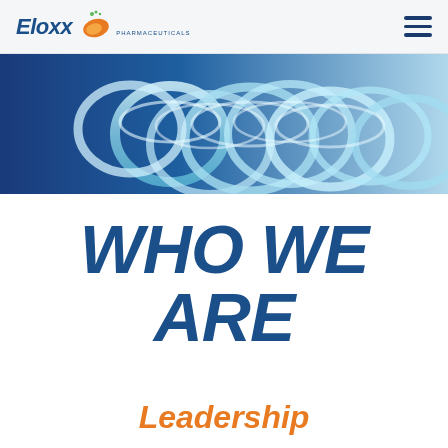Eloxx Pharmaceuticals
[Figure (photo): Close-up of coiled transparent/blue tubing on a blue and white background, resembling DNA or laboratory coils]
WHO WE ARE
Leadership